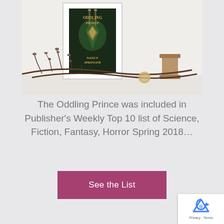[Figure (photo): Photo of 'The Oddling Prince' book by Nancy Springer in a white frame, surrounded by decorative twigs/branches and a cork spool, set against a light background]
The Oddling Prince was included in Publisher's Weekly Top 10 list of Science, Fiction, Fantasy, Horror Spring 2018…
See the List
[Figure (logo): Google reCAPTCHA badge with Privacy and Terms links]